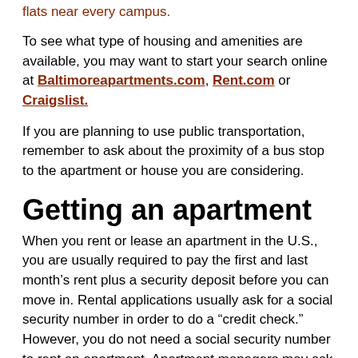flats near every campus.
To see what type of housing and amenities are available, you may want to start your search online at Baltimoreapartments.com, Rent.com or Craigslist.
If you are planning to use public transportation, remember to ask about the proximity of a bus stop to the apartment or house you are considering.
Getting an apartment
When you rent or lease an apartment in the U.S., you are usually required to pay the first and last month’s rent plus a security deposit before you can move in. Rental applications usually ask for a social security number in order to do a “credit check.” However, you do not need a social security number to rent an apartment. Apartment managers may ask for a larger security deposit instead. You may also need to provide proof that you have the